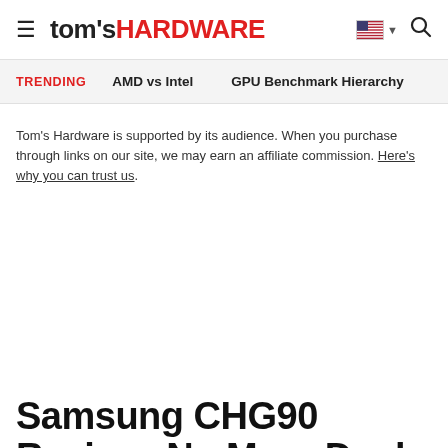tom's HARDWARE
TRENDING   AMD vs Intel   GPU Benchmark Hierarchy
Tom's Hardware is supported by its audience. When you purchase through links on our site, we may earn an affiliate commission. Here's why you can trust us.
Samsung CHG90 Review: No More Dual Monitor Gaming